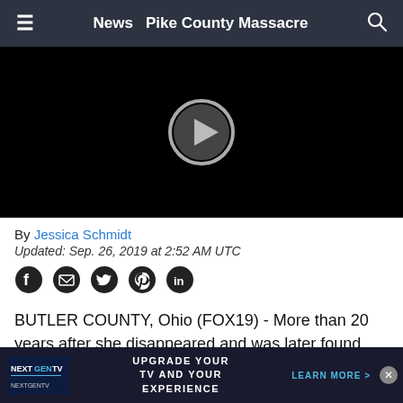News  Pike County Massacre
[Figure (screenshot): Black video player with a circular play button in the center]
By Jessica Schmidt
Updated: Sep. 26, 2019 at 2:52 AM UTC
[Figure (infographic): Social media share icons: Facebook, Email, Twitter, Pinterest, LinkedIn]
BUTLER COUNTY, Ohio (FOX19) - More than 20 years after she disappeared and was later found dead, Laney Gwinner's murder remains unsolved, but now, a retired detective informā... down
[Figure (infographic): Advertisement banner: NEXTGEN TV logo, UPGRADE YOUR TV AND YOUR EXPERIENCE, LEARN MORE > with X close button]